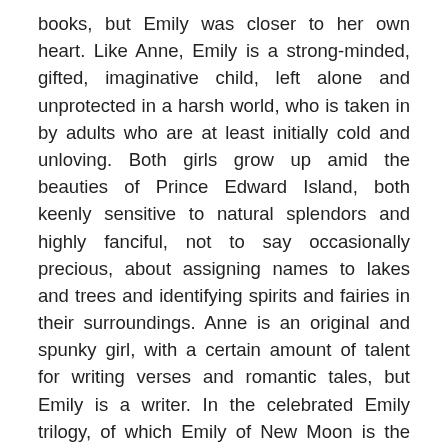books, but Emily was closer to her own heart. Like Anne, Emily is a strong-minded, gifted, imaginative child, left alone and unprotected in a harsh world, who is taken in by adults who are at least initially cold and unloving. Both girls grow up amid the beauties of Prince Edward Island, both keenly sensitive to natural splendors and highly fanciful, not to say occasionally precious, about assigning names to lakes and trees and identifying spirits and fairies in their surroundings. Anne is an original and spunky girl, with a certain amount of talent for writing verses and romantic tales, but Emily is a writer. In the celebrated Emily trilogy, of which Emily of New Moon is the first volume, Montgomery draws a more realistic portrait of a young girl's life on Prince Edward Island. The twin threads of bright and dark, love and cruelty, hope and despair intertwine in a pattern